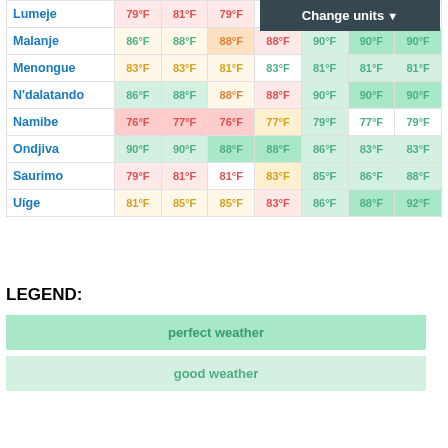| City | Col1 | Col2 | Col3 | Col4 | Col5 | Col6 | Col7 |
| --- | --- | --- | --- | --- | --- | --- | --- |
| Lumeje | 79°F | 81°F | 79°F | 81°F | 83°F | 81°F | 83°F |
| Malanje | 86°F | 88°F | 88°F | 88°F | 90°F | 90°F | 90°F |
| Menongue | 83°F | 83°F | 81°F | 83°F | 81°F | 81°F | 81°F |
| N'dalatando | 86°F | 88°F | 88°F | 88°F | 90°F | 90°F | 90°F |
| Namibe | 76°F | 77°F | 76°F | 77°F | 79°F | 77°F | 79°F |
| Ondjiva | 90°F | 90°F | 88°F | 88°F | 86°F | 83°F | 83°F |
| Saurimo | 79°F | 81°F | 81°F | 83°F | 85°F | 86°F | 88°F |
| Uíge | 81°F | 85°F | 85°F | 83°F | 86°F | 88°F | 92°F |
LEGEND:
perfect weather
good weather